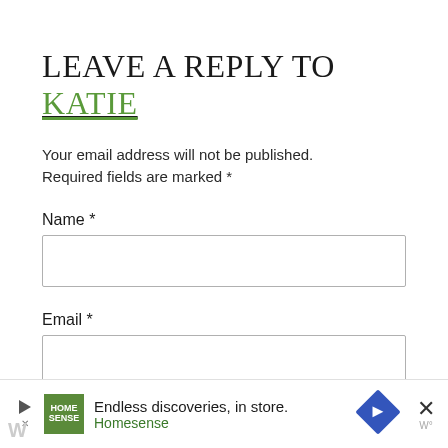LEAVE A REPLY TO KATIE
Your email address will not be published. Required fields are marked *
Name *
Email *
[Figure (other): Advertisement banner: Homesense - Endless discoveries, in store.]